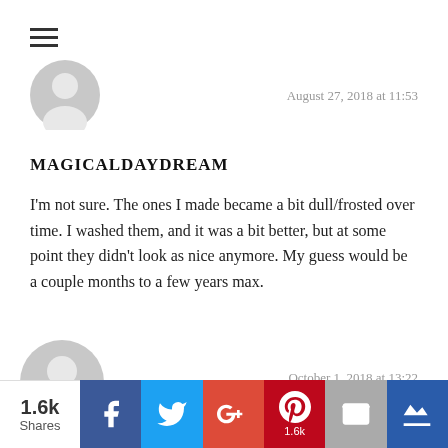[Figure (illustration): Hamburger menu icon (three horizontal lines)]
[Figure (illustration): Grey default user avatar circle for first comment]
August 27, 2018 at 11:53
MAGICALDAYDREAM
I'm not sure. The ones I made became a bit dull/frosted over time. I washed them, and it was a bit better, but at some point they didn't look as nice anymore. My guess would be a couple months to a few years max.
[Figure (illustration): Grey default user avatar circle for second comment]
October 1, 2018 at 13:22
NAZIFA ISHMAM
Reply
1.6k Shares | Facebook | Twitter | G+ | Pinterest 1.6k | Email | Crown